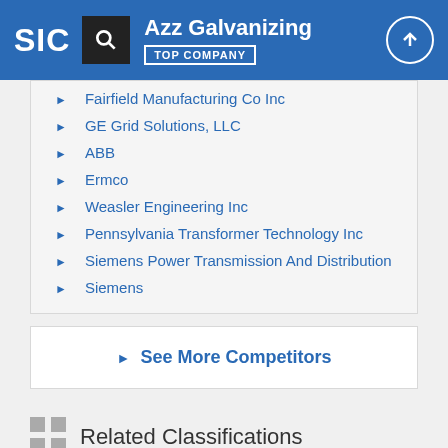SIC | Azz Galvanizing | TOP COMPANY
Fairfield Manufacturing Co Inc
GE Grid Solutions, LLC
ABB
Ermco
Weasler Engineering Inc
Pennsylvania Transformer Technology Inc
Siemens Power Transmission And Distribution
Siemens
See More Competitors
Related Classifications